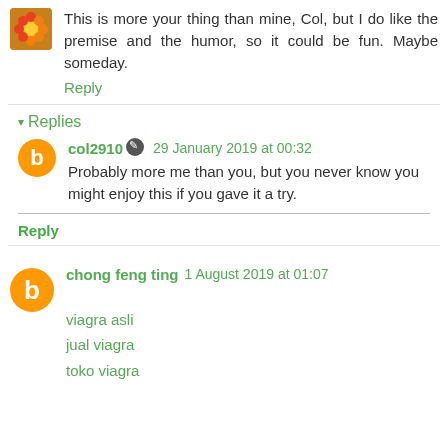[Figure (photo): Small square avatar image with orange/yellow flowers, top-left corner]
This is more your thing than mine, Col, but I do like the premise and the humor, so it could be fun. Maybe someday.
Reply
▾ Replies
col2910  29 January 2019 at 00:32
Probably more me than you, but you never know you might enjoy this if you gave it a try.
Reply
chong feng ting  1 August 2019 at 01:07
viagra asli
jual viagra
toko viagra